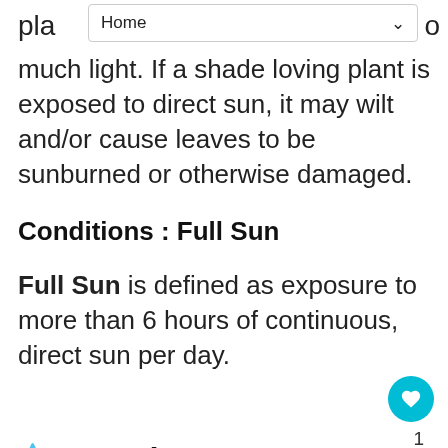Home
plants too much light. If a shade loving plant is exposed to direct sun, it may wilt and/or cause leaves to be sunburned or otherwise damaged.
Conditions : Full Sun
Full Sun is defined as exposure to more than 6 hours of continuous, direct sun per day.
🌢 Watering
Conditions : Semi-Arid
Semi-Arid is defined as very little water/rainfall